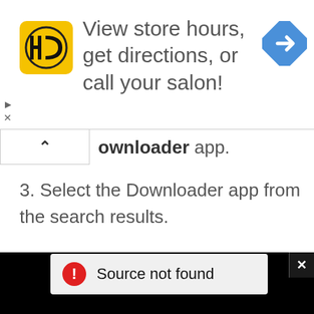[Figure (screenshot): Advertisement banner: HC logo (yellow square with HC letters), text 'View store hours, get directions, or call your salon!', blue diamond navigation icon on the right. Small play and X icons on the left edge.]
ownloader app.
3. Select the Downloader app from the search results.
[Figure (screenshot): Black video player area with 'Source not found' error message in a light gray box with a red warning circle icon. An X close button in the top-right corner of the black area.]